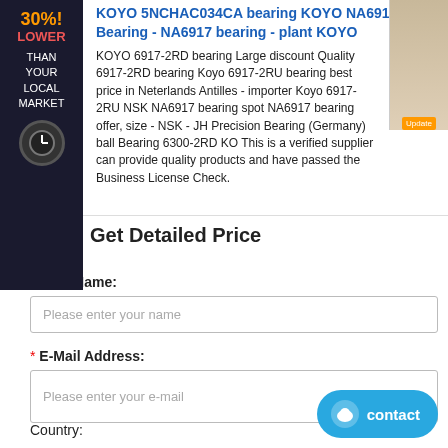KOYO 5NCHAC034CA bearing KOYO NA6917 Bearing - NA6917 bearing - plant KOYO
KOYO 6917-2RD bearing Large discount Quality 6917-2RD bearing Koyo 6917-2RU bearing best price in Neterlands Antilles - importer Koyo 6917-2RU NSK NA6917 bearing spot NA6917 bearing offer, size - NSK - JH Precision Bearing (Germany) ball Bearing 6300-2RD KO This is a verified supplier can provide quality products and have passed the Business License Check.
Get Detailed Price
* Your Name:
Please enter your name
* E-Mail Address:
Please enter your e-mail
Country: